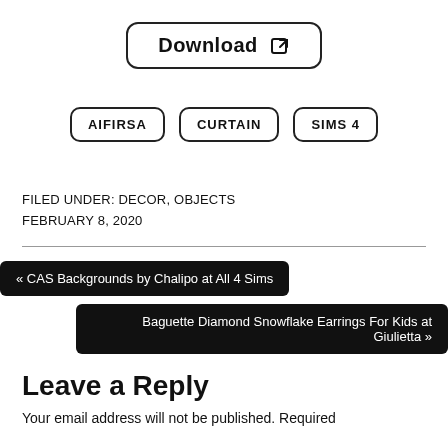Download ↗
AIFIRSA   CURTAIN   SIMS 4
FILED UNDER: DECOR, OBJECTS
FEBRUARY 8, 2020
« CAS Backgrounds by Chalipo at All 4 Sims
Baguette Diamond Snowflake Earrings For Kids at Giulietta »
Leave a Reply
Your email address will not be published. Required